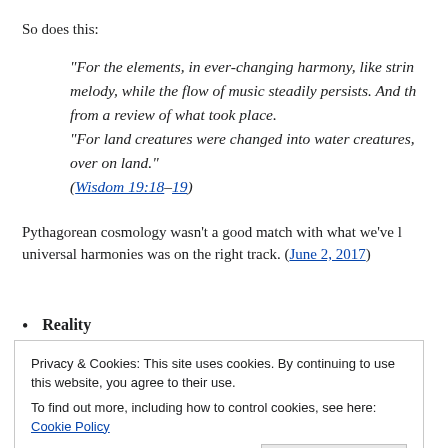So does this:
“For the elements, in ever-changing harmony, like strings of a lyre, change their melody, while the flow of music steadily persists. And this can be clearly inferred from a review of what took place.
“For land creatures were changed into water creatures, and swimming things shifted over on land.”
(Wisdom 19:18–19)
Pythagorean cosmology wasn’t a good match with what we’ve learned, but the idea of universal harmonies was on the right track. (June 2, 2017)
Reality
Privacy & Cookies: This site uses cookies. By continuing to use this website, you agree to their use.
To find out more, including how to control cookies, see here: Cookie Policy